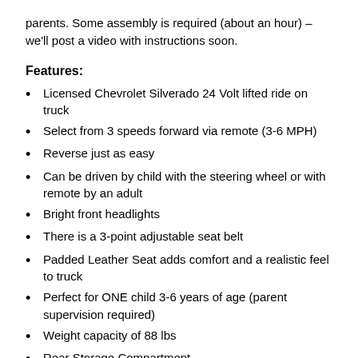parents. Some assembly is required (about an hour) – we'll post a video with instructions soon.
Features:
Licensed Chevrolet Silverado 24 Volt lifted ride on truck
Select from 3 speeds forward via remote (3-6 MPH)
Reverse just as easy
Can be driven by child with the steering wheel or with remote by an adult
Bright front headlights
There is a 3-point adjustable seat belt
Padded Leather Seat adds comfort and a realistic feel to truck
Perfect for ONE child 3-6 years of age (parent supervision required)
Weight capacity of 88 lbs
Rear Storage Compartment
Push-Button Start with Start Up Sounds and